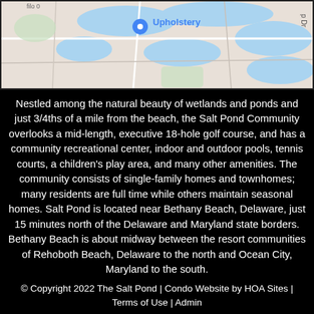[Figure (map): Google Maps screenshot showing a local area map with water bodies (blue), roads, and a location pin labeled 'Upholstery']
Nestled among the natural beauty of wetlands and ponds and just 3/4ths of a mile from the beach, the Salt Pond Community overlooks a mid-length, executive 18-hole golf course, and has a community recreational center, indoor and outdoor pools, tennis courts, a children's play area, and many other amenities. The community consists of single-family homes and townhomes; many residents are full time while others maintain seasonal homes. Salt Pond is located near Bethany Beach, Delaware, just 15 minutes north of the Delaware and Maryland state borders. Bethany Beach is about midway between the resort communities of Rehoboth Beach, Delaware to the north and Ocean City, Maryland to the south.
© Copyright 2022 The Salt Pond | Condo Website by HOA Sites | Terms of Use | Admin